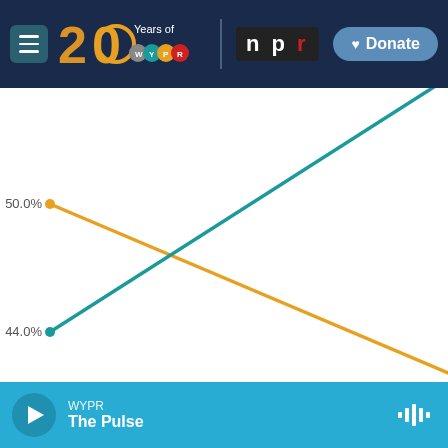[Figure (screenshot): WYPR NPR radio station website navigation bar with hamburger menu, 20 Years of WYPR logo, NPR logo, and Donate button on dark navy background]
[Figure (line-chart): Two crossing lines: orange line declining from ~50.0% (left) toward lower right; teal/green line rising from ~44.0% (lower left) toward upper right. Lines cross near center. Y-axis labels: 50.0% and 44.0% with dots on left side.]
[Figure (screenshot): WYPR radio player footer bar in teal/blue showing play button, WYPR station name, The Pulse show name, and audio waveform icon]